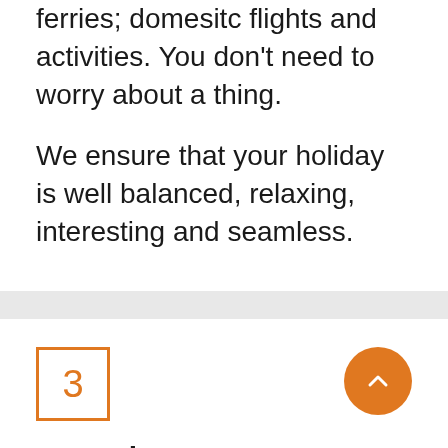ferries; domesitc flights and activities. You don't need to worry about a thing.
We ensure that your holiday is well balanced, relaxing, interesting and seamless.
3
Your Itinerary